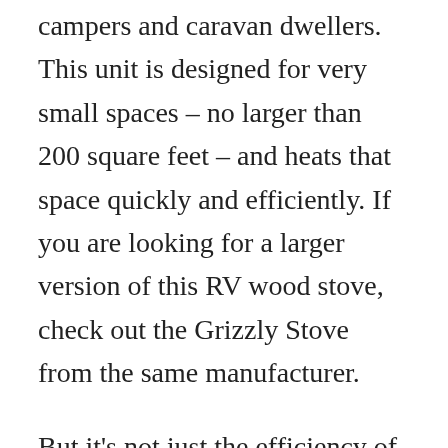campers and caravan dwellers. This unit is designed for very small spaces – no larger than 200 square feet – and heats that space quickly and efficiently. If you are looking for a larger version of this RV wood stove, check out the Grizzly Stove from the same manufacturer.
But it's not just the efficiency of this small unit that makes it a worthwhile purchase. The Cubic Mini Wood Stove is one of the smallest wood stoves available, and it's beautiful too. The gold accents make it a standout in any decor. Since there are no mechanical elements